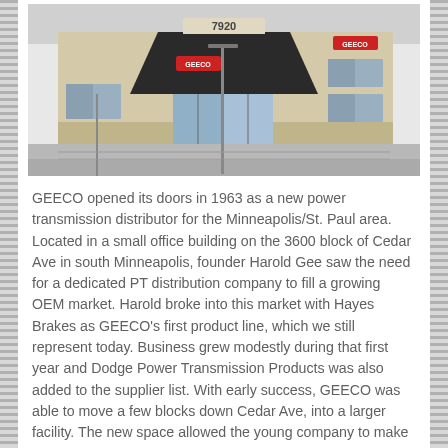[Figure (photo): Exterior photo of a commercial building with address number 7920 visible above the entrance. The building has large glass windows and doors at the entrance with a distinctive angular dark canopy overhang. The facade is light brick/tan colored with GEECO signage visible on both the entrance area and the right side of the building.]
GEECO opened its doors in 1963 as a new power transmission distributor for the Minneapolis/St. Paul area. Located in a small office building on the 3600 block of Cedar Ave in south Minneapolis, founder Harold Gee saw the need for a dedicated PT distribution company to fill a growing OEM market. Harold broke into this market with Hayes Brakes as GEECO's first product line, which we still represent today. Business grew modestly during that first year and Dodge Power Transmission Products was also added to the supplier list. With early success, GEECO was able to move a few blocks down Cedar Ave, into a larger facility. The new space allowed the young company to make